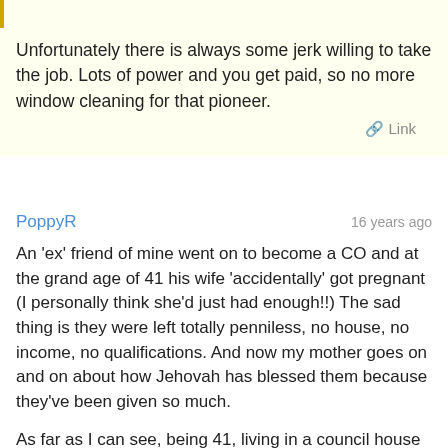Unfortunately there is always some jerk willing to take the job. Lots of power and you get paid, so no more window cleaning for that pioneer.
Link
PoppyR   16 years ago
An 'ex' friend of mine went on to become a CO and at the grand age of 41 his wife 'accidentally' got pregnant (I personally think she'd just had enough!!) The sad thing is they were left totally penniless, no house, no income, no qualifications. And now my mother goes on and on about how Jehovah has blessed them because they've been given so much.
As far as I can see, being 41, living in a council house in one of the worst areas because that's all they could get, and having a dead end job and a